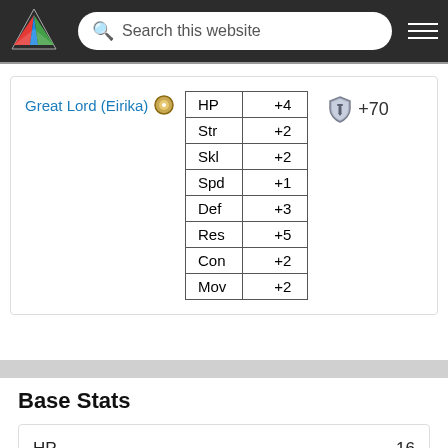Search this website
Great Lord (Eirika) +70
| Stat | Bonus |
| --- | --- |
| HP | +4 |
| Str | +2 |
| Skl | +2 |
| Spd | +1 |
| Def | +3 |
| Res | +5 |
| Con | +2 |
| Mov | +2 |
Base Stats
| Stat | Value |
| --- | --- |
| HP | 16 |